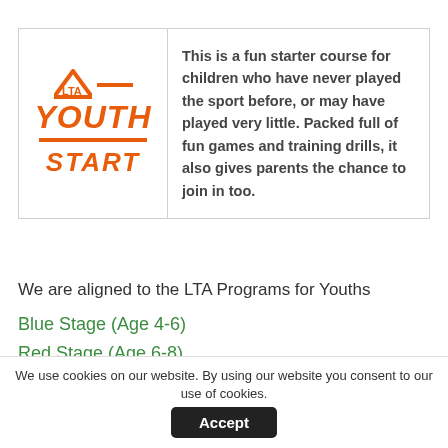[Figure (logo): LTA Youth Start logo with orange triangle, 'YOUTH' text and 'START' text]
This is a fun starter course for children who have never played the sport before, or may have played very little. Packed full of fun games and training drills, it also gives parents the chance to join in too.
We are aligned to the LTA Programs for Youths
Blue Stage (Age 4-6)
Red Stage (Age 6-8)
Orange Stage (Age 8-9)
Green Stage (Age 9-10)
Yellow Stage (Age 10+)
We use cookies on our website. By using our website you consent to our use of cookies.